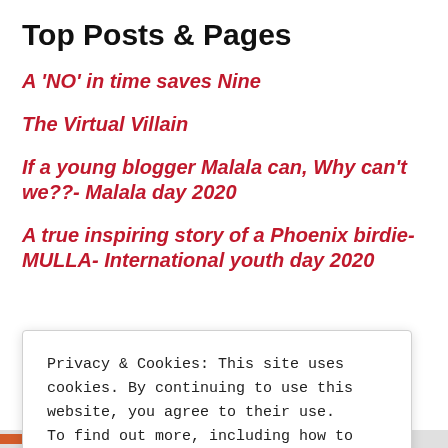Top Posts & Pages
A 'NO' in time saves Nine
The Virtual Villain
If a young blogger Malala can, Why can't we??- Malala day 2020
A true inspiring story of a Phoenix birdie-MULLA- International youth day 2020
Privacy & Cookies: This site uses cookies. By continuing to use this website, you agree to their use. To find out more, including how to control cookies, see here: Cookie Policy
Close and accept